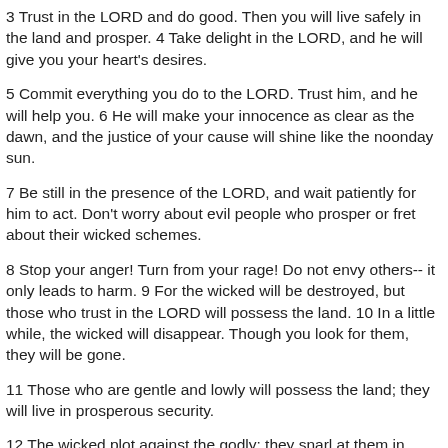3 Trust in the LORD and do good. Then you will live safely in the land and prosper. 4 Take delight in the LORD, and he will give you your heart's desires.
5 Commit everything you do to the LORD. Trust him, and he will help you. 6 He will make your innocence as clear as the dawn, and the justice of your cause will shine like the noonday sun.
7 Be still in the presence of the LORD, and wait patiently for him to act. Don't worry about evil people who prosper or fret about their wicked schemes.
8 Stop your anger! Turn from your rage! Do not envy others-- it only leads to harm. 9 For the wicked will be destroyed, but those who trust in the LORD will possess the land. 10 In a little while, the wicked will disappear. Though you look for them, they will be gone.
11 Those who are gentle and lowly will possess the land; they will live in prosperous security.
12 The wicked plot against the godly; they snarl at them in defiance. 13 But the Lord just laughs, for he sees their day of judgment coming.